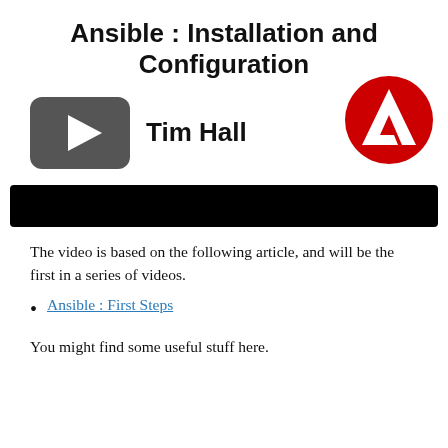Ansible : Installation and Configuration
[Figure (screenshot): YouTube-style video thumbnail play button (dark grey rounded rectangle with white play triangle) alongside the Ansible logo (red circle with white A letter)]
Tim Hall
[Figure (other): Black redacted/censored bar]
The video is based on the following article, and will be the first in a series of videos.
Ansible : First Steps
You might find some useful stuff here.